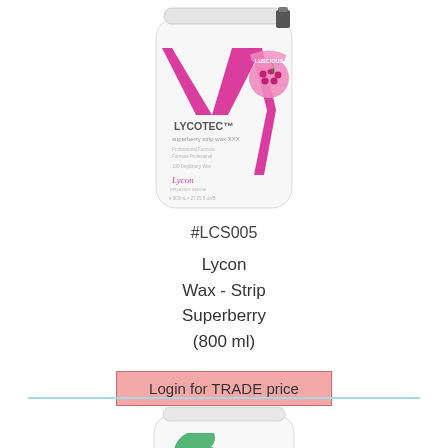[Figure (photo): Lycon Lycotec Superberry Strip Wax XXX product in a white cylindrical container with pink branding and raspberry graphic, 800ml]
#LCS005
Lycon
Wax - Strip
Superberry
(800 ml)
Login for TRADE price
[Figure (photo): Second product in a white cylindrical container with green 'b green' branding, partially shown]